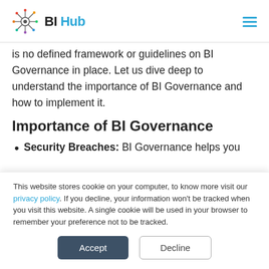BI Hub
is no defined framework or guidelines on BI Governance in place. Let us dive deep to understand the importance of BI Governance and how to implement it.
Importance of BI Governance
Security Breaches: BI Governance helps you make sure that the right people have access
This website stores cookie on your computer, to know more visit our privacy policy. If you decline, your information won't be tracked when you visit this website. A single cookie will be used in your browser to remember your preference not to be tracked.